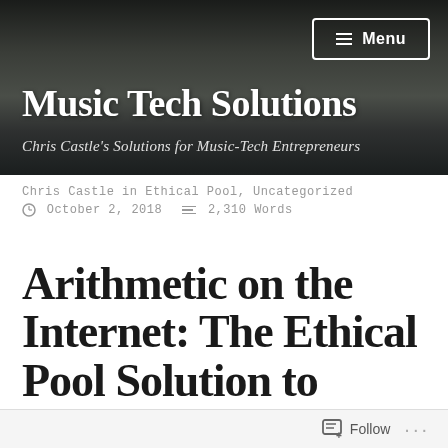Music Tech Solutions
Chris Castle's Solutions for Music-Tech Entrepreneurs
Chris Castle in Ethical Pool, Uncategorized
October 2, 2018   2,310 Words
Arithmetic on the Internet: The Ethical Pool Solution to Streaming Royals…